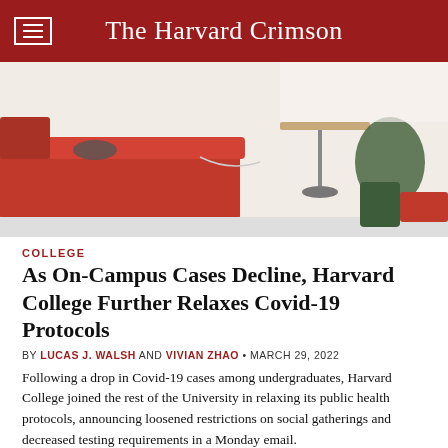The Harvard Crimson
[Figure (photo): Students sitting at red cushioned benches and tables in a Harvard common area or lounge]
COLLEGE
As On-Campus Cases Decline, Harvard College Further Relaxes Covid-19 Protocols
BY LUCAS J. WALSH AND VIVIAN ZHAO • MARCH 29, 2022
Following a drop in Covid-19 cases among undergraduates, Harvard College joined the rest of the University in relaxing its public health protocols, announcing loosened restrictions on social gatherings and decreased testing requirements in a Monday email.
[Figure (photo): Interior of a Harvard building showing dark modern architecture with lighting]